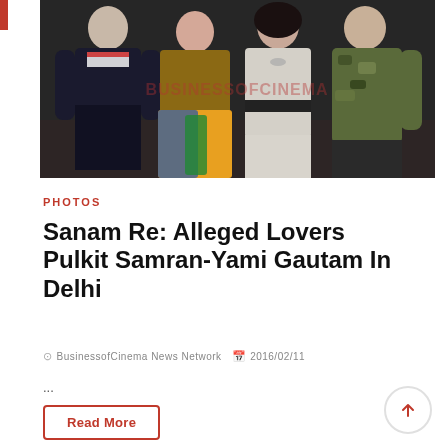[Figure (photo): Group photo of four people posing together, including Pulkit Samran and Yami Gautam, with a BUSINESSOFCINEMA watermark overlay]
PHOTOS
Sanam Re: Alleged Lovers Pulkit Samran-Yami Gautam In Delhi
BusinessofCinema News Network   2016/02/11
...
Read More